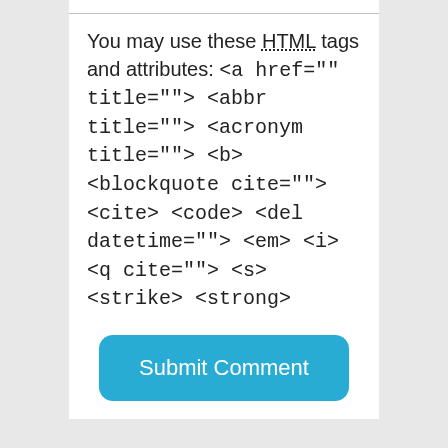You may use these HTML tags and attributes: <a href="" title=""> <abbr title=""> <acronym title=""> <b> <blockquote cite=""> <cite> <code> <del datetime=""> <em> <i> <q cite=""> <s> <strike> <strong>
Submit Comment